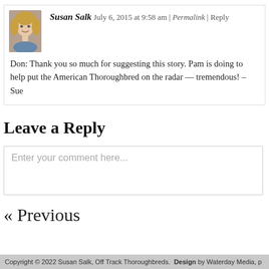[Figure (photo): Profile photo of Susan Salk — a woman with blond/brown hair smiling slightly]
Susan Salk July 6, 2015 at 9:58 am | Permalink | Reply
Don: Thank you so much for suggesting this story. Pam is doing to help put the American Thoroughbred on the radar — tremendous! – Sue
Leave a Reply
Enter your comment here...
« Previous
Copyright © 2022 Susan Salk, Off Track Thoroughbreds.  Design by Waterday Media, p